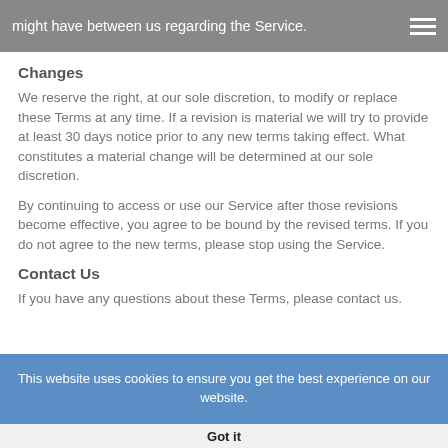might have between us regarding the Service.
Changes
We reserve the right, at our sole discretion, to modify or replace these Terms at any time. If a revision is material we will try to provide at least 30 days notice prior to any new terms taking effect. What constitutes a material change will be determined at our sole discretion.
By continuing to access or use our Service after those revisions become effective, you agree to be bound by the revised terms. If you do not agree to the new terms, please stop using the Service.
Contact Us
If you have any questions about these Terms, please contact us.
This website uses cookies to ensure you get the best experience on our website.
Got it